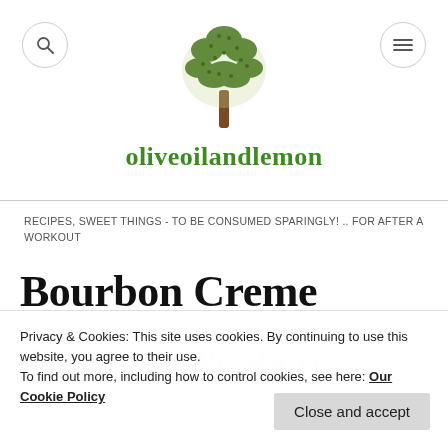oliveoilandlemon
RECIPES, SWEET THINGS - TO BE CONSUMED SPARINGLY! .. FOR AFTER A WORKOUT
Bourbon Creme Anglaise & Pear
Privacy & Cookies: This site uses cookies. By continuing to use this website, you agree to their use. To find out more, including how to control cookies, see here: Our Cookie Policy
Close and accept